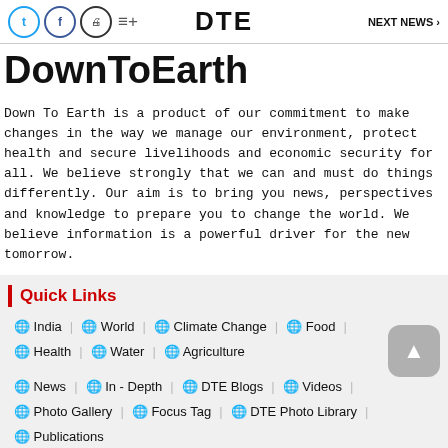DTE   NEXT NEWS >
DownToEarth
Down To Earth is a product of our commitment to make changes in the way we manage our environment, protect health and secure livelihoods and economic security for all. We believe strongly that we can and must do things differently. Our aim is to bring you news, perspectives and knowledge to prepare you to change the world. We believe information is a powerful driver for the new tomorrow.
Quick Links
India
World
Climate Change
Food
Health
Water
Agriculture
News
In - Depth
DTE Blogs
Videos
Photo Gallery
Focus Tag
DTE Photo Library
Publications